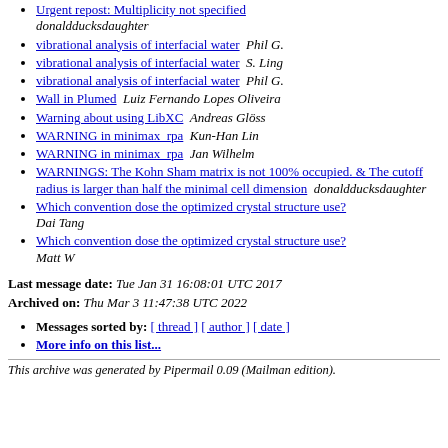Urgent repost: Multiplicity not specified  donaldducksdaughter
vibrational analysis of interfacial water   Phil G.
vibrational analysis of interfacial water   S. Ling
vibrational analysis of interfacial water   Phil G.
Wall in Plumed   Luiz Fernando Lopes Oliveira
Warning about using LibXC   Andreas Glöss
WARNING in minimax_rpa   Kun-Han Lin
WARNING in minimax_rpa   Jan Wilhelm
WARNINGS: The Kohn Sham matrix is not 100% occupied. & The cutoff radius is larger than half the minimal cell dimension   donaldducksdaughter
Which convention dose the optimized crystal structure use?  Dai Tang
Which convention dose the optimized crystal structure use?  Matt W
Last message date: Tue Jan 31 16:08:01 UTC 2017
Archived on: Thu Mar 3 11:47:38 UTC 2022
Messages sorted by: [ thread ] [ author ] [ date ]
More info on this list...
This archive was generated by Pipermail 0.09 (Mailman edition).